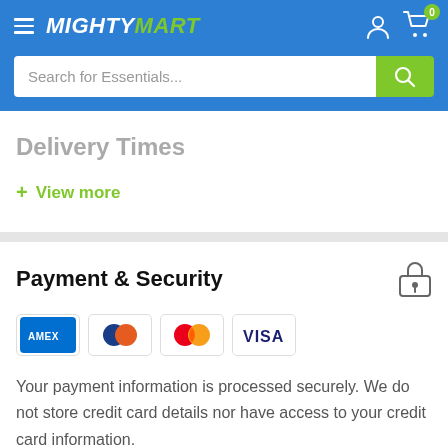[Figure (logo): MightyMart logo with hamburger menu, user icon, and cart icon with badge 0 on blue header]
[Figure (screenshot): Search bar with placeholder text 'Search for Essentials...' and green search button]
Delivery Times
+ View more
Payment & Security
[Figure (infographic): Payment method icons: American Express (AMEX), Diners Club, Mastercard, Visa]
Your payment information is processed securely. We do not store credit card details nor have access to your credit card information.